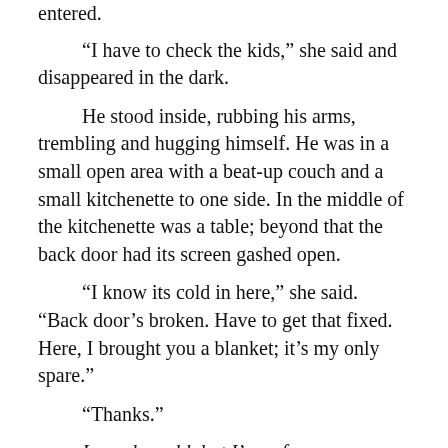entered.
“I have to check the kids,” she said and disappeared in the dark.
He stood inside, rubbing his arms, trembling and hugging himself. He was in a small open area with a beat-up couch and a small kitchenette to one side. In the middle of the kitchenette was a table; beyond that the back door had its screen gashed open.
“I know its cold in here,” she said. “Back door’s broken. Have to get that fixed. Here, I brought you a blanket; it’s my only spare.”
“Thanks.”
I may be cold, but I’m safe.
“You can sleep on the couch,” she said, and then she was gone.